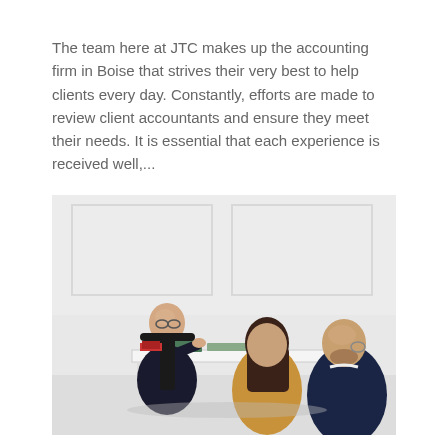The team here at JTC makes up the accounting firm in Boise that strives their very best to help clients every day. Constantly, efforts are made to review client accountants and ensure they meet their needs. It is essential that each experience is received well,...
[Figure (photo): A professional business meeting scene showing an accountant or advisor seated behind a white desk gesturing while speaking, with two clients (a woman with dark hair wearing a tan/beige outfit and a bald man with glasses wearing a dark navy suit) seated across from him. The setting is a bright, white-walled office with panel molding.]